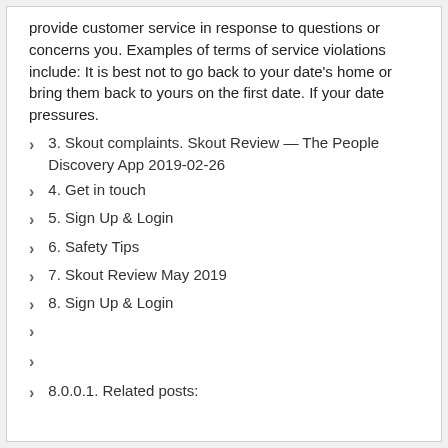provide customer service in response to questions or concerns you. Examples of terms of service violations include: It is best not to go back to your date's home or bring them back to yours on the first date. If your date pressures.
3. Skout complaints. Skout Review — The People Discovery App 2019-02-26
4. Get in touch
5. Sign Up & Login
6. Safety Tips
7. Skout Review May 2019
8. Sign Up & Login
8.0.0.1. Related posts: